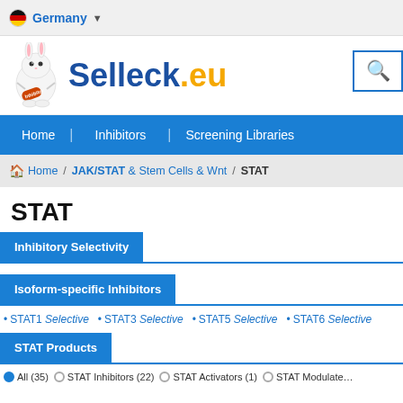Germany ▼
[Figure (logo): Selleck.eu logo with mascot rabbit/inhibitor character and search box]
Home | Inhibitors | Screening Libraries
Home / JAK/STAT & Stem Cells & Wnt / STAT
STAT
Inhibitory Selectivity
Isoform-specific Inhibitors
STAT1 Selective
STAT3 Selective
STAT5 Selective
STAT6 Selective
STAT Products
All (35)
STAT Inhibitors (22)
STAT Activators (1)
STAT Modulators